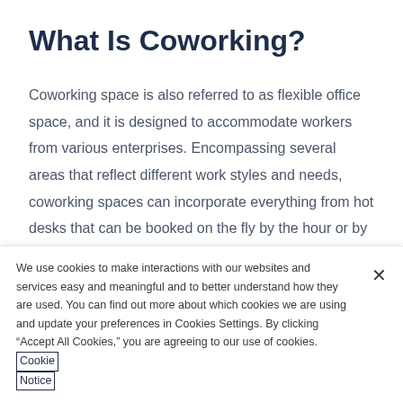What Is Coworking?
Coworking space is also referred to as flexible office space, and it is designed to accommodate workers from various enterprises. Encompassing several areas that reflect different work styles and needs, coworking spaces can incorporate everything from hot desks that can be booked on the fly by the hour or by the day, to dedicated desks, private offices,
We use cookies to make interactions with our websites and services easy and meaningful and to better understand how they are used. You can find out more about which cookies we are using and update your preferences in Cookies Settings. By clicking “Accept All Cookies,” you are agreeing to our use of cookies. Cookie Notice